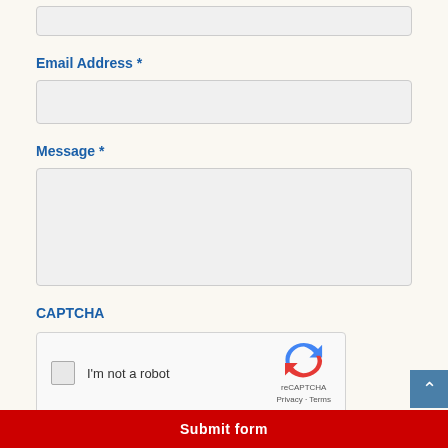[Figure (screenshot): Empty text input box at the top of the form (partially visible, cropped from top)]
Email Address *
[Figure (screenshot): Email address input text field (empty, light grey background)]
Message *
[Figure (screenshot): Message textarea (large, empty, light grey background)]
CAPTCHA
[Figure (screenshot): reCAPTCHA widget with checkbox labelled 'I'm not a robot' and reCAPTCHA logo with Privacy and Terms links]
Submit form